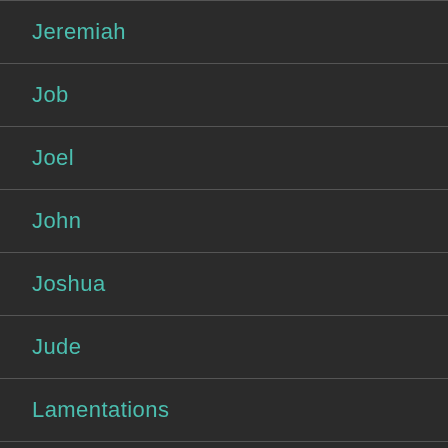Jeremiah
Job
Joel
John
Joshua
Jude
Lamentations
Leviticus